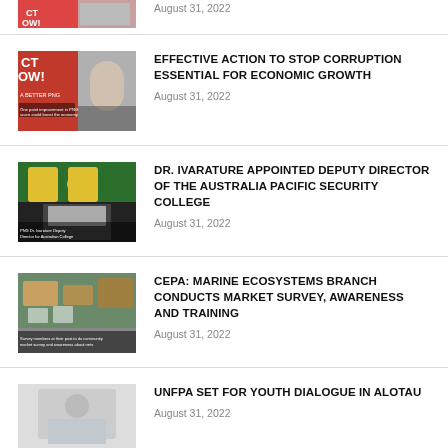[Figure (photo): Partial news thumbnail visible at top of page, cropped]
EFFECTIVE ACTION TO STOP CORRUPTION ESSENTIAL FOR ECONOMIC GROWTH
August 31, 2022
DR. IVARATURE APPOINTED DEPUTY DIRECTOR OF THE AUSTRALIA PACIFIC SECURITY COLLEGE
August 31, 2022
CEPA: MARINE ECOSYSTEMS BRANCH CONDUCTS MARKET SURVEY, AWARENESS AND TRAINING
August 31, 2022
UNFPA SET FOR YOUTH DIALOGUE IN ALOTAU
August 31, 2022